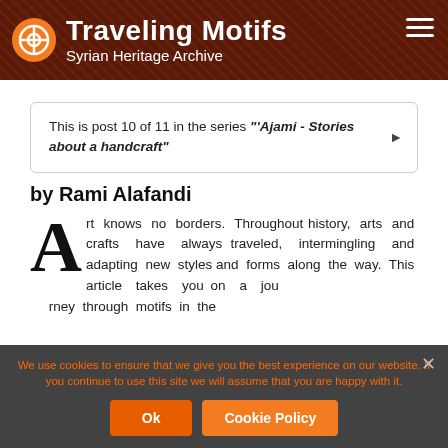Traveling Motifs — Syrian Heritage Archive
This is post 10 of 11 in the series "'Ajami - Stories about a handcraft"
by Rami Alafandi
Art knows no borders. Throughout history, arts and crafts have always traveled, intermingling and adapting new styles and forms along the way. This article takes you on a journey through motifs in the
We use cookies to ensure that we give you the best experience on our website. If you continue to use this site we will assume that you are happy with it.